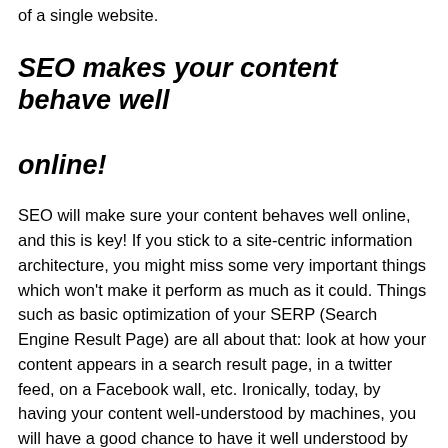of a single website.
SEO makes your content behave well online!
SEO will make sure your content behaves well online, and this is key!  If you stick to a site-centric information architecture, you might miss some very important things which won't make it perform as much as it could.  Things such as basic optimization of  your SERP (Search Engine Result Page) are all about that: look at how your content appears in a search result page, in a twitter feed, on a Facebook wall, etc.  Ironically, today, by having your content well-understood by machines, you will have a good chance to have it well understood by humans. We can now design our content for both humans and